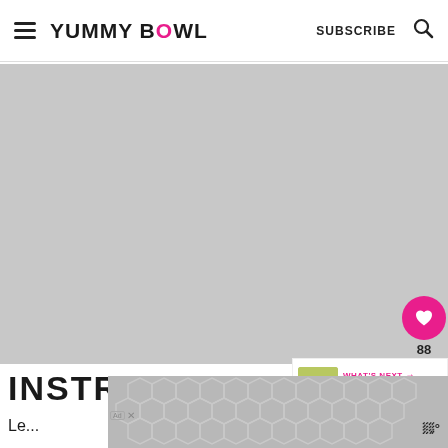YUMMY BOWL | SUBSCRIBE
[Figure (photo): Large grey placeholder image area for recipe photo]
INSTRUCTION
[Figure (photo): What's Next thumbnail: Marinated Cucumber,...]
WHAT'S NEXT → Marinated Cucumber,...
Le...
[Figure (screenshot): Advertisement banner with honeycomb pattern at the bottom of the page]